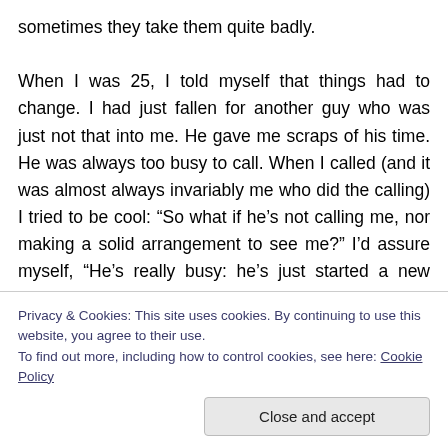sometimes they take them quite badly.

When I was 25, I told myself that things had to change. I had just fallen for another guy who was just not that into me. He gave me scraps of his time. He was always too busy to call. When I called (and it was almost always invariably me who did the calling) I tried to be cool: “So what if he’s not calling me, nor making a solid arrangement to see me?” I’d assure myself, “He’s really busy: he’s just started a new course, he’s in a different city. He’s a guy – they can’t multi-task. Besides, I’ll be that cool
Privacy & Cookies: This site uses cookies. By continuing to use this website, you agree to their use.
To find out more, including how to control cookies, see here: Cookie Policy
Close and accept